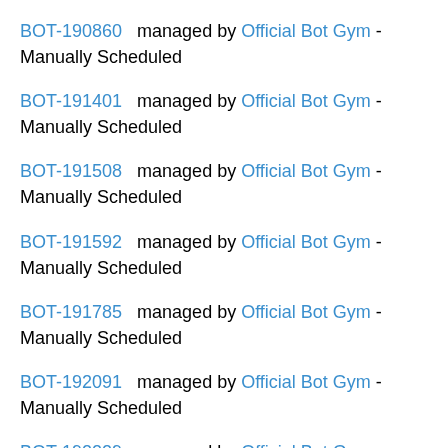BOT-190860 managed by Official Bot Gym - Manually Scheduled
BOT-191401 managed by Official Bot Gym - Manually Scheduled
BOT-191508 managed by Official Bot Gym - Manually Scheduled
BOT-191592 managed by Official Bot Gym - Manually Scheduled
BOT-191785 managed by Official Bot Gym - Manually Scheduled
BOT-192091 managed by Official Bot Gym - Manually Scheduled
BOT-192229 managed by Official Bot Gym - Manually Scheduled